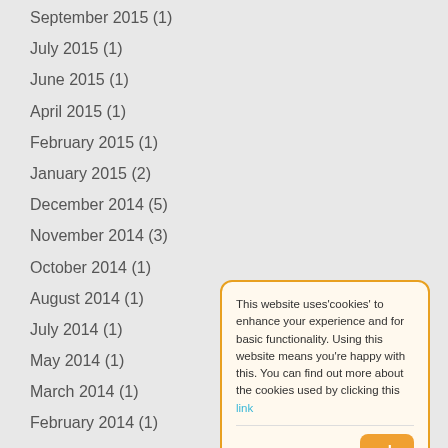September 2015 (1)
July 2015 (1)
June 2015 (1)
April 2015 (1)
February 2015 (1)
January 2015 (2)
December 2014 (5)
November 2014 (3)
October 2014 (1)
August 2014 (1)
July 2014 (1)
May 2014 (1)
March 2014 (1)
February 2014 (1)
January 2014 (1)
December 2013 (1)
November 2013 (1)
October 2013 (2)
This website uses'cookies' to enhance your experience and for basic functionality. Using this website means you're happy with this. You can find out more about the cookies used by clicking this link